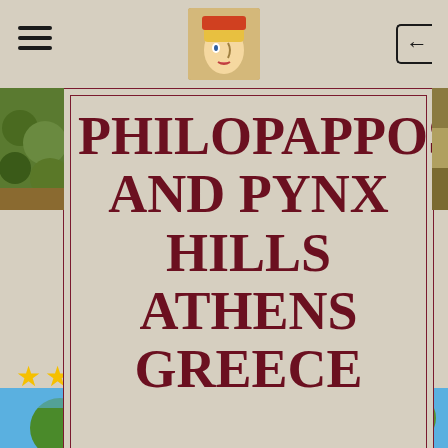Navigation bar with hamburger menu, logo image, and back button
PHILOPAPPOS AND PYNX HILLS ATHENS GREECE
ATHENS, EUROPEAN CITIES, GREECE by SUEMTRAVELS · JULY 10, 2021
★★★★★ i 4 Votes
[Figure (photo): Bottom strip photo showing trees and sky in Athens]